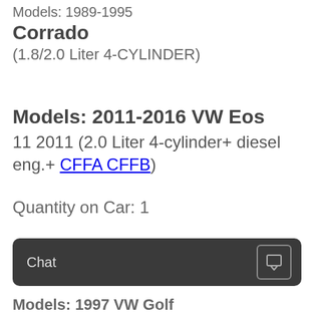Models: 1989-1995
Corrado
(1.8/2.0 Liter 4-CYLINDER)
Models: 2011-2016 VW Eos
11 2011 (2.0 Liter 4-cylinder+ diesel eng.+ CFFA CFFB)
Quantity on Car: 1
Chat
Models: 1997 VW Golf